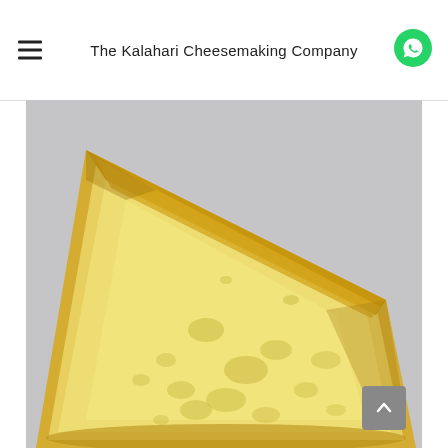The Kalahari Cheesemaking Company
[Figure (photo): Close-up photograph of a wedge of yellow/golden cheese on a light grey marble surface. The cheese has a firm yellow rind and a pale yellow interior with small holes and a slightly crumbly texture.]